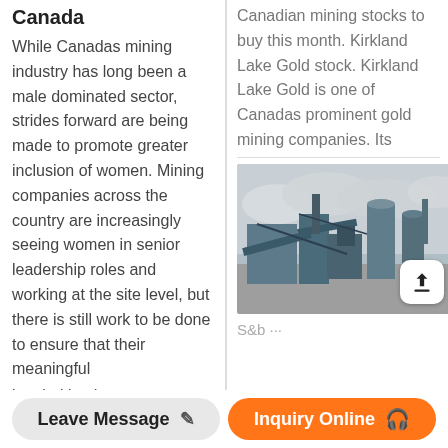Canada
While Canadas mining industry has long been a male dominated sector, strides forward are being made to promote greater inclusion of women. Mining companies across the country are increasingly seeing women in senior leadership roles and working at the site level, but there is still work to be done to ensure that their meaningful is prioritized.
Canadian mining stocks to buy this month. Kirkland Lake Gold stock. Kirkland Lake Gold is one of Canadas prominent gold mining companies. Its
[Figure (photo): Industrial mining plant with blue machinery, conveyors, and silos photographed against an overcast sky. Upload button overlay in bottom right.]
Leave Message
Inquiry Online